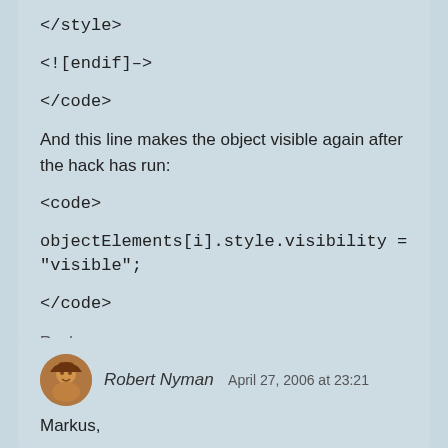</style>
<![endif]–>
</code>
And this line makes the object visible again after the hack has run:
<code>
objectElements[i].style.visibility = "visible";
</code>
Reply
Robert Nyman  April 27, 2006 at 23:21
Markus,